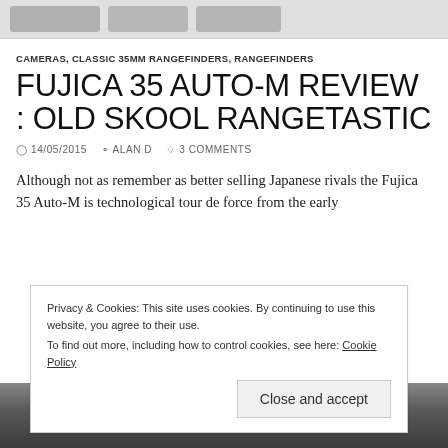[Figure (screenshot): Top navigation image strip with gray placeholder images]
CAMERAS, CLASSIC 35MM RANGEFINDERS, RANGEFINDERS
FUJICA 35 AUTO-M REVIEW : OLD SKOOL RANGETASTIC
14/05/2015  ALAN D  3 COMMENTS
Although not as remember as better selling Japanese rivals the Fujica 35 Auto-M is technological tour de force from the early
Privacy & Cookies: This site uses cookies. By continuing to use this website, you agree to their use.
To find out more, including how to control cookies, see here: Cookie Policy
Close and accept
[Figure (photo): Dark photo strip at the bottom showing camera equipment]